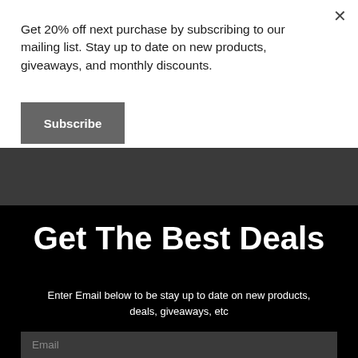Get 20% off next purchase by subscribing to our mailing list. Stay up to date on new products, giveaways, and monthly discounts.
Subscribe
Get The Best Deals
Enter Email below to be stay up to date on new products, deals, giveaways, etc
Email